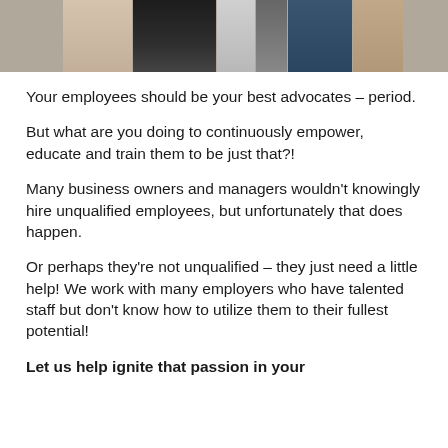[Figure (photo): Cropped photo of a group of people standing together, showing torsos/lower bodies with various clothing.]
Your employees should be your best advocates – period.
But what are you doing to continuously empower, educate and train them to be just that?!
Many business owners and managers wouldn't knowingly hire unqualified employees, but unfortunately that does happen.
Or perhaps they're not unqualified – they just need a little help! We work with many employers who have talented staff but don't know how to utilize them to their fullest potential!
Let us help ignite that passion in your employees!